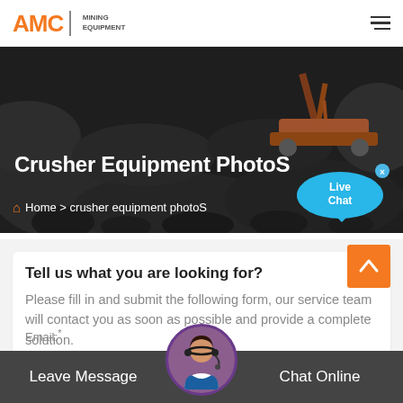[Figure (logo): AMC Mining Equipment logo in orange and gray]
Crusher Equipment PhotoS
Home > crusher equipment photoS
[Figure (illustration): Live Chat bubble with speech icon]
Tell us what you are looking for?
Please fill in and submit the following form, our service team will contact you as soon as possible and provide a complete solution.
Name:
As: Tom
Email:*
Leave Message
Chat Online